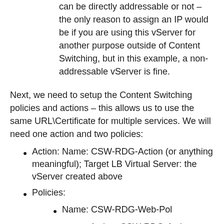can be directly addressable or not – the only reason to assign an IP would be if you are using this vServer for another purpose outside of Content Switching, but in this example, a non-addressable vServer is fine.
Next, we need to setup the Content Switching policies and actions – this allows us to use the same URL\Certificate for multiple services. We will need one action and two policies:
Action: Name: CSW-RDG-Action (or anything meaningful); Target LB Virtual Server: the vServer created above
Policies:
Name: CSW-RDG-Web-Pol
Action: CSW-RDG-Action
Expression: HTTP.REQ.URL.REG